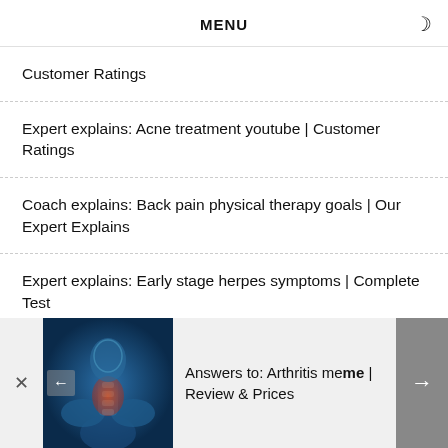MENU
Customer Ratings
Expert explains: Acne treatment youtube | Customer Ratings
Coach explains: Back pain physical therapy goals | Our Expert Explains
Expert explains: Early stage herpes symptoms | Complete Test
[Figure (photo): Medical illustration of human spine/neck anatomy with red inflammation highlight on blue X-ray style background]
Answers to: Arthritis meme | Review & Prices